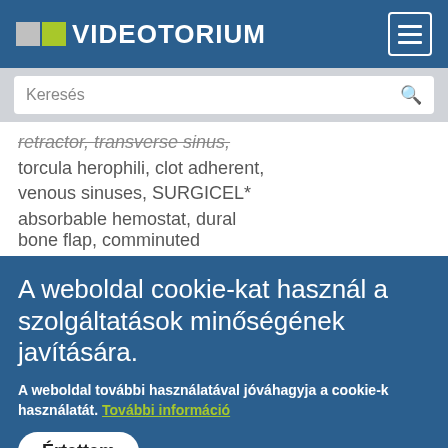VIDEOTORIUM
retractor, transverse sinus, torcula herophili, clot adherent, venous sinuses, SURGICEL* absorbable hemostat, dural hitch sutures, hemostasis, bone flap, comminuted fracture, occipital bone, suboccipital headache, discomfort, using drill, burr holes, Gigli saw, infratentorial
A weboldal cookie-kat használ a szolgáltatások minőségének javítására.
A weboldal további használatával jóváhagyja a cookie-k használatát. További információ
Értettem